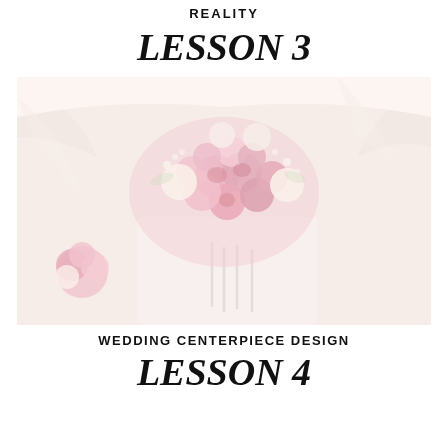REALITY
LESSON 3
[Figure (photo): Wedding floral centerpiece arrangement featuring large pink and white roses in tall glass vases under white draped fabric canopy, with smaller floral arrangements visible in the background]
WEDDING CENTERPIECE DESIGN
LESSON 4